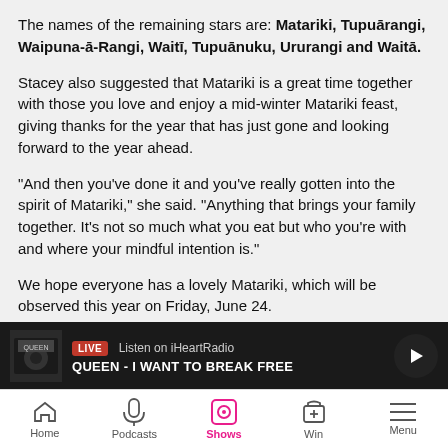The names of the remaining stars are: Matariki, Tupuārangi, Waipuna-ā-Rangi, Waitī, Tupuānuku, Ururangi and Waitā.
Stacey also suggested that Matariki is a great time together with those you love and enjoy a mid-winter Matariki feast, giving thanks for the year that has just gone and looking forward to the year ahead.
"And then you've done it and you've really gotten into the spirit of Matariki," she said. "Anything that brings your family together. It's not so much what you eat but who you're with and where your mindful intention is."
We hope everyone has a lovely Matariki, which will be observed this year on Friday, June 24.
[Figure (other): Social share buttons: email, Facebook, Twitter, Flipboard, Pinterest, Reddit, WhatsApp]
[Figure (other): iHeartRadio player bar showing LIVE - Listen on iHeartRadio, QUEEN - I WANT TO BREAK FREE]
[Figure (other): Bottom navigation bar with Home, Podcasts, Shows (active), Win, Menu]